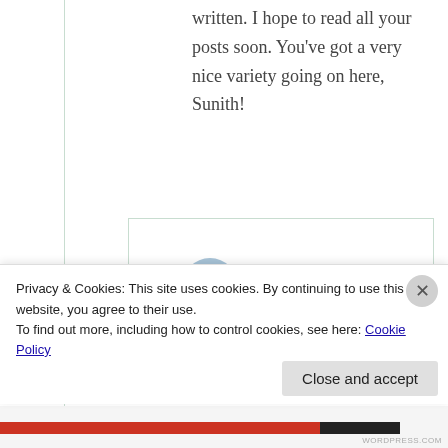written. I hope to read all your posts soon. You've got a very nice variety going on here, Sunith!
Sunith
March 24, 2019
Privacy & Cookies: This site uses cookies. By continuing to use this website, you agree to their use.
To find out more, including how to control cookies, see here: Cookie Policy
Close and accept